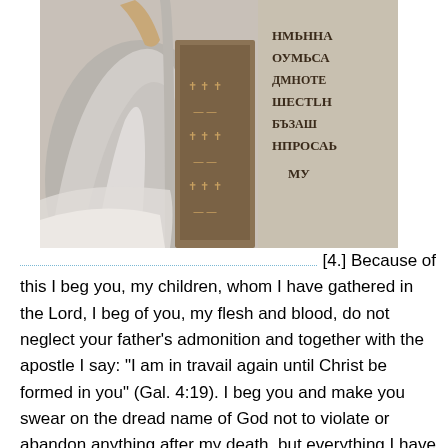[Figure (illustration): A fresco or medieval painting showing a robed figure (likely a saint or apostle) in white/gray robes standing before an architectural element such as a church door or gate. To the right is a stone tablet or panel with Cyrillic/Old Church Slavonic text inscribed on it.]
[4.] Because of this I beg you, my children, whom I have gathered in the Lord, I beg of you, my flesh and blood, do not neglect your father's admonition and together with the apostle I say: "I am in travail again until Christ be formed in you" (Gal. 4:19). I beg you and make you swear on the dread name of God not to violate or abandon anything after my death, but everything I have written let be carried out, as it is written and as you have promised before God. Whosoever oversteps or violates something of it, let him